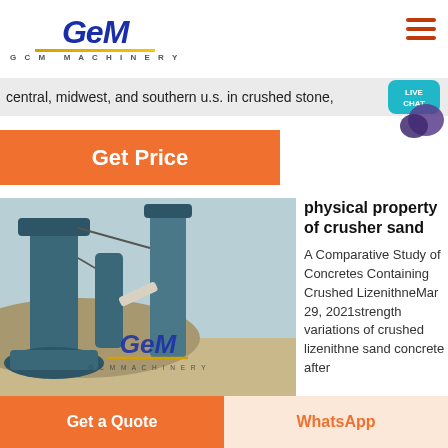[Figure (logo): GCM Machinery logo with stylized italic G C M letters in dark blue with yellow underline and 'G C M  MACHINERY' text below]
central, midwest, and southern u.s. in crushed stone,
[Figure (other): Live Chat bubble icon in teal with speech bubble graphic]
Get Price
[Figure (photo): Industrial machinery photo showing large blue grinding/milling towers with GCM Machinery watermark]
physical property of crusher sand
A Comparative Study of Concretes Containing Crushed LizenithneMar 29, 2021strength variations of crushed lizenithne sand concrete after
Get a Quote
WhatsApp